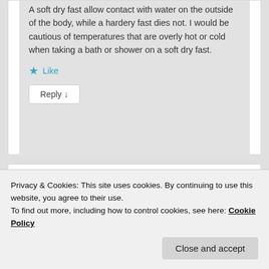A soft dry fast allow contact with water on the outside of the body, while a hardery fast dies not. I would be cautious of temperatures that are overly hot or cold when taking a bath or shower on a soft dry fast.
★ Like
Reply ↓
Privacy & Cookies: This site uses cookies. By continuing to use this website, you agree to their use.
To find out more, including how to control cookies, see here: Cookie Policy
Close and accept